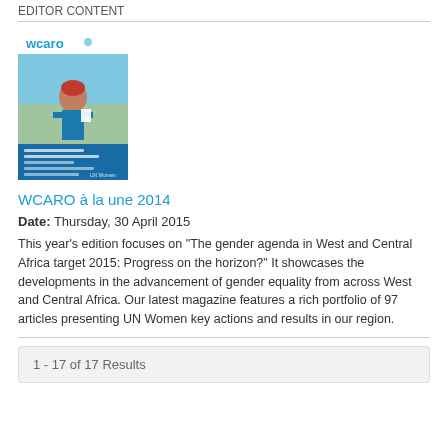EDITOR CONTENT
[Figure (photo): Cover of WCARO à la une 2014 magazine showing a woman in blue with the WCARO logo and text about gender agenda in West and Central Africa target 2015]
WCARO à la une 2014
Date: Thursday, 30 April 2015
This year's edition focuses on "The gender agenda in West and Central Africa target 2015: Progress on the horizon?" It showcases the developments in the advancement of gender equality from across West and Central Africa. Our latest magazine features a rich portfolio of 97 articles presenting UN Women key actions and results in our region.
1 - 17 of 17 Results